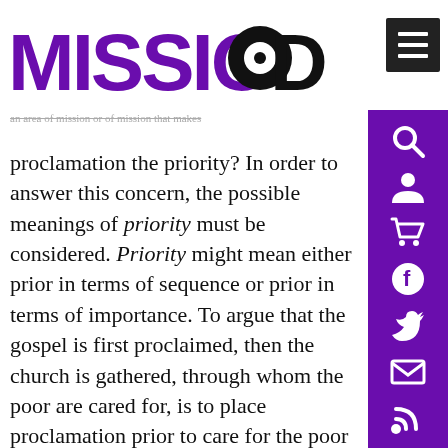[Figure (logo): Missio Dei logo with purple MISSIO text and black DEI text with circular symbol]
proclamation the priority? In order to answer this concern, the possible meanings of priority must be considered. Priority might mean either prior in terms of sequence or prior in terms of importance. To argue that the gospel is first proclaimed, then the church is gathered, through whom the poor are cared for, is to place proclamation prior to care for the poor in sequence but not necessarily in importance. An analogy can assist us here. Godliness in the believer comes after conversion, but is no less important.¹⁹ To argue that a local church has a responsibility to care for the